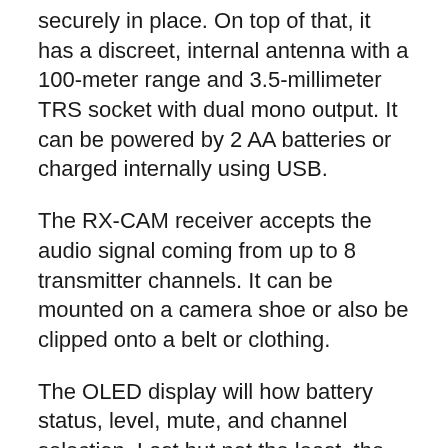securely in place. On top of that, it has a discreet, internal antenna with a 100-meter range and 3.5-millimeter TRS socket with dual mono output. It can be powered by 2 AA batteries or charged internally using USB.
The RX-CAM receiver accepts the audio signal coming from up to 8 transmitter channels. It can be mounted on a camera shoe or also be clipped onto a belt or clothing.
The OLED display will how battery status, level, mute, and channel selection. Last but not the least, the 3.5-millimeter TRS locking jack socket will send audio directly to the camera or recording device.